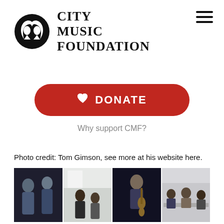[Figure (logo): City Music Foundation logo: circular emblem with two profile silhouettes facing each other, black and white]
CITY MUSIC FOUNDATION
[Figure (other): Hamburger menu icon (three horizontal lines) in top right corner]
[Figure (other): Red rounded rectangle DONATE button with white heart icon and white bold text reading DONATE]
Why support CMF?
Photo credit: Tom Gimson, see more at his website here.
[Figure (photo): Strip of four black and white photographs showing young musicians and music professionals in various settings]